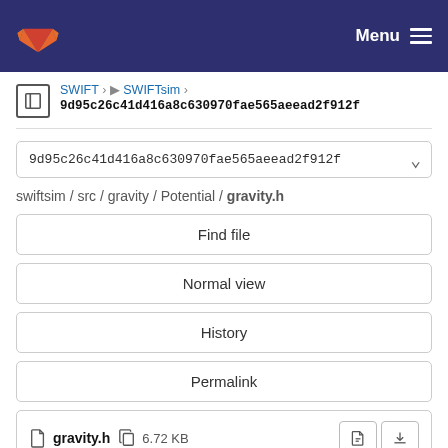GitLab navigation bar with logo and Menu
SWIFT › SWIFTsim › 9d95c26c41d416a8c630970fae565aeead2f912f
9d95c26c41d416a8c630970fae565aeead2f912f
swiftsim / src / gravity / Potential / gravity.h
Find file
Normal view
History
Permalink
gravity.h   6.72 KB
Newer   Older